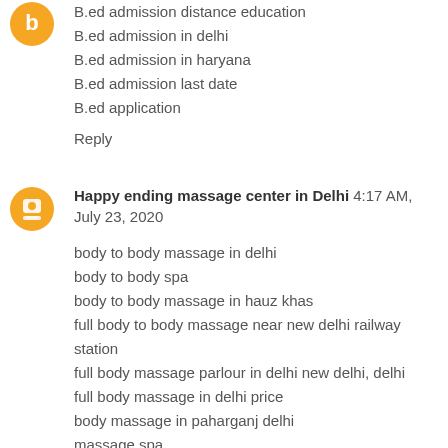B.ed admission distance education
B.ed admission in delhi
B.ed admission in haryana
B.ed admission last date
B.ed application
Reply
Happy ending massage center in Delhi  4:17 AM, July 23, 2020
body to body massage in delhi
body to body spa
body to body massage in hauz khas
full body to body massage near new delhi railway station
full body massage parlour in delhi new delhi, delhi
full body massage in delhi price
body massage in paharganj delhi
massage spa
body to body spa near me
full body to body massage in Delhi